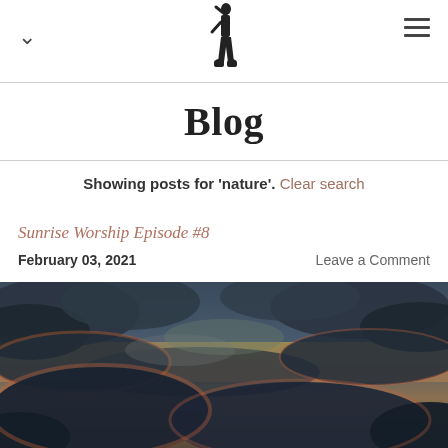Blog
Showing posts for 'nature'. Clear search
Sunrise Worship Episode #8
February 03, 2021   Leave a Comment
[Figure (photo): Dramatic cloudy sky at sunrise or sunset with golden and blue tones, dark storm clouds with orange-pink glowing edges along the horizon]